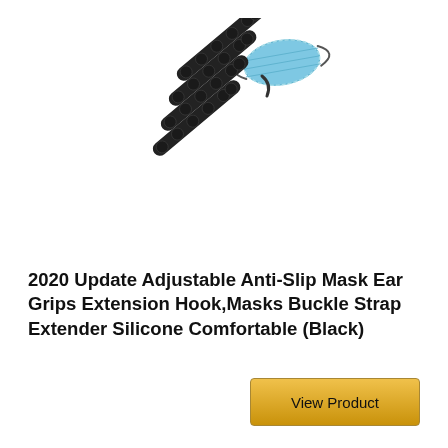[Figure (photo): Product photo showing four black silicone mask ear grip extension hook straps arranged diagonally, with a blue face mask shown at upper right hooked onto one strap.]
2020 Update Adjustable Anti-Slip Mask Ear Grips Extension Hook,Masks Buckle Strap Extender Silicone Comfortable (Black)
View Product